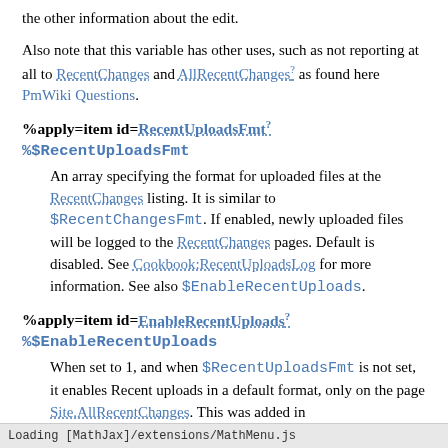the other information about the edit.
Also note that this variable has other uses, such as not reporting at all to RecentChanges and AllRecentChanges? as found here PmWiki Questions.
%apply=item id=RecentUploadsFmt?
%$RecentUploadsFmt
An array specifying the format for uploaded files at the RecentChanges listing. It is similar to $RecentChangesFmt. If enabled, newly uploaded files will be logged to the RecentChanges pages. Default is disabled. See Cookbook:RecentUploadsLog for more information. See also $EnableRecentUploads.
%apply=item id=EnableRecentUploads?
%$EnableRecentUploads
When set to 1, and when $RecentUploadsFmt is not set, it enables Recent uploads in a default format, only on the page Site.AllRecentChanges. This was added in ... with some default
Loading [MathJax]/extensions/MathMenu.js